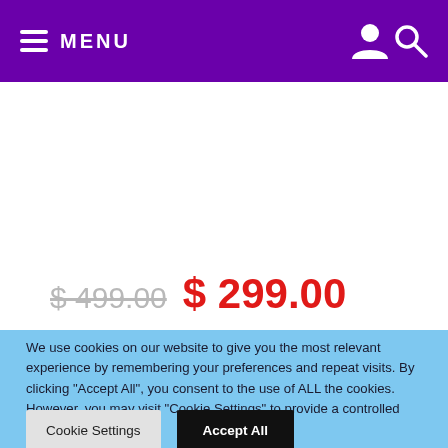MENU
$ 499.00  $ 299.00
We use cookies on our website to give you the most relevant experience by remembering your preferences and repeat visits. By clicking "Accept All", you consent to the use of ALL the cookies. However, you may visit "Cookie Settings" to provide a controlled consent.
Cookie Settings  Accept All